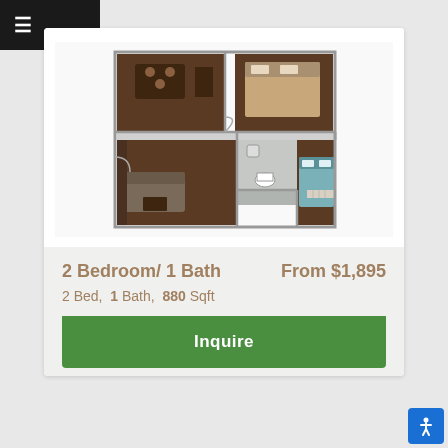[Figure (floorplan): 2 bedroom 1 bath apartment floor plan shown as 3D isometric view with dark wood floors, dining area, living room, bathroom, and two bedrooms]
2 Bedroom/ 1 Bath
From $1,895
2 Bed, 1 Bath, 880 Sqft
Inquire